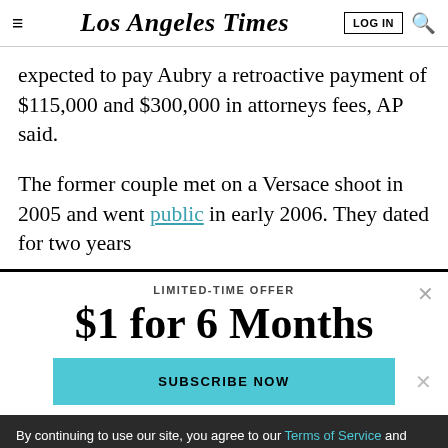Los Angeles Times
expected to pay Aubry a retroactive payment of $115,000 and $300,000 in attorneys fees, AP said.
The former couple met on a Versace shoot in 2005 and went public in early 2006. They dated for two years
LIMITED-TIME OFFER
$1 for 6 Months
SUBSCRIBE NOW
By continuing to use our site, you agree to our Terms of Service and Privacy Policy. You can learn more about how we use cookies by reviewing our Privacy Policy. Close